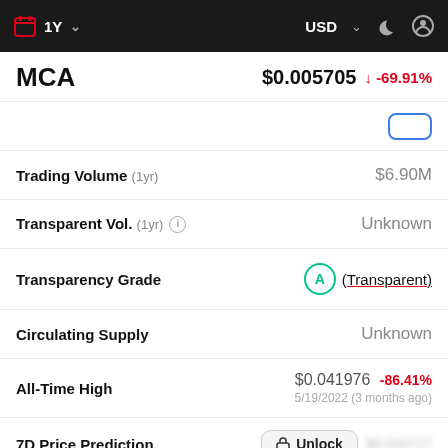1Y  USD
MCA  $0.005705  -69.91%
Trading Volume (1yr)  $6.90M
Transparent Vol. (1yr)  Unknown
Transparency Grade  A (Transparent)
Circulating Supply  Unknown
All-Time High  $0.041976  -86.41%  5/19/2022 (3 months ago)
7D Price Prediction  Unlock  $0.005717